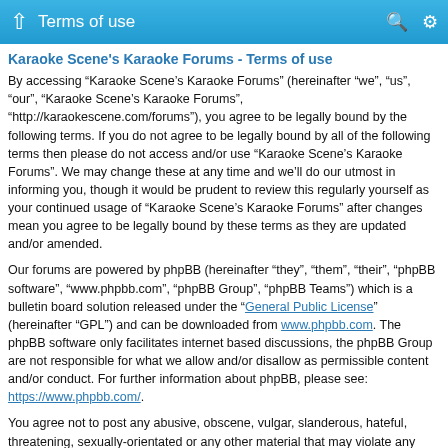Terms of use
Karaoke Scene's Karaoke Forums - Terms of use
By accessing “Karaoke Scene’s Karaoke Forums” (hereinafter “we”, “us”, “our”, “Karaoke Scene’s Karaoke Forums”, “http://karaokescene.com/forums”), you agree to be legally bound by the following terms. If you do not agree to be legally bound by all of the following terms then please do not access and/or use “Karaoke Scene’s Karaoke Forums”. We may change these at any time and we’ll do our utmost in informing you, though it would be prudent to review this regularly yourself as your continued usage of “Karaoke Scene’s Karaoke Forums” after changes mean you agree to be legally bound by these terms as they are updated and/or amended.
Our forums are powered by phpBB (hereinafter “they”, “them”, “their”, “phpBB software”, “www.phpbb.com”, “phpBB Group”, “phpBB Teams”) which is a bulletin board solution released under the “General Public License” (hereinafter “GPL”) and can be downloaded from www.phpbb.com. The phpBB software only facilitates internet based discussions, the phpBB Group are not responsible for what we allow and/or disallow as permissible content and/or conduct. For further information about phpBB, please see: https://www.phpbb.com/.
You agree not to post any abusive, obscene, vulgar, slanderous, hateful, threatening, sexually-orientated or any other material that may violate any laws be it of your country, the country where “Karaoke Scene’s Karaoke Forums” is hosted or International Law. Doing so may lead to you being immediately and permanently banned, with notification of your Internet Service Provider if deemed required by us. The IP address of all posts are recorded to aid in enforcing these conditions. You agree that “Karaoke Scene’s Karaoke Forums” have the right to remove, edit,